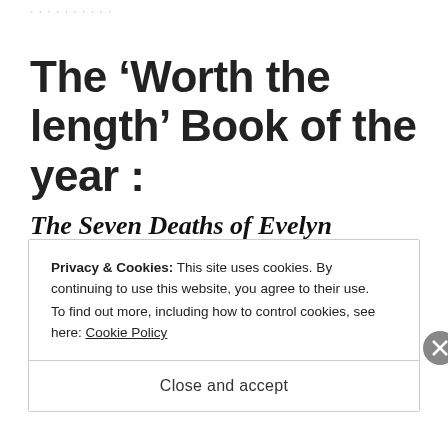The ‘Worth the length’ Book of the year :
The Seven Deaths of Evelyn Hardcastle
Privacy & Cookies: This site uses cookies. By continuing to use this website, you agree to their use.
To find out more, including how to control cookies, see here: Cookie Policy
Close and accept